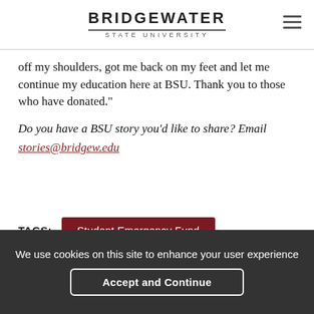BRIDGEWATER STATE UNIVERSITY
off my shoulders, got me back on my feet and let me continue my education here at BSU. Thank you to those who have donated.”
Do you have a BSU story you’d like to share? Email stories@bridgew.edu
TAGS: Student Emergency Fund
We use cookies on this site to enhance your user experience
Accept and Continue